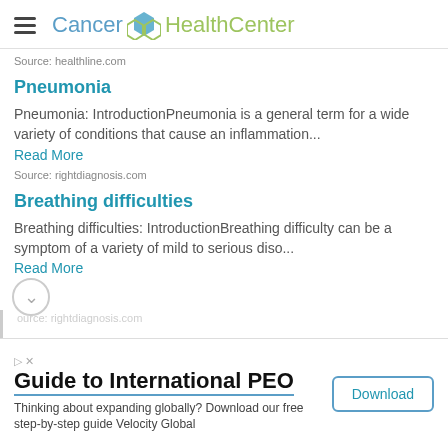Cancer HealthCenter
Source: healthline.com
Pneumonia
Pneumonia: IntroductionPneumonia is a general term for a wide variety of conditions that cause an inflammation...
Read More
Source: rightdiagnosis.com
Breathing difficulties
Breathing difficulties: IntroductionBreathing difficulty can be a symptom of a variety of mild to serious diso...
Read More
Guide to International PEO
Thinking about expanding globally? Download our free step-by-step guide Velocity Global